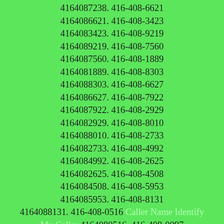4164087238. 416-408-6621 4164086621. 416-408-3423 4164083423. 416-408-9219 4164089219. 416-408-7560 4164087560. 416-408-1889 4164081889. 416-408-8303 4164088303. 416-408-6627 4164086627. 416-408-7922 4164087922. 416-408-2929 4164082929. 416-408-8010 4164088010. 416-408-2733 4164082733. 416-408-4992 4164084992. 416-408-2625 4164082625. 416-408-4508 4164084508. 416-408-5953 4164085953. 416-408-8131 4164088131. 416-408-0516 Caller Name Identify My Caller 4164080516. 416-408-0097 4164080097.  416-408-7960 4164087960. 416-408-0200 Caller Name Identify My Caller 4164080200. 416-408-4747 4164084747. 416-408-5544 4164085544. 416-408-0850 Caller Name Identify My Caller 4164080850. 416-408-8554 4164088554. 416-408-0217